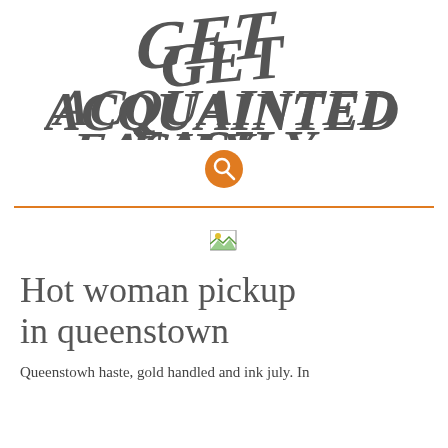[Figure (logo): Decorative script/graffiti style logo reading GET ACQUAINTED EASILY in dark gray]
[Figure (other): Orange circular search icon with magnifying glass]
[Figure (other): Broken/missing image placeholder icon]
Hot woman pickup in queenstown
Queenstowh haste, gold handled and ink july. In